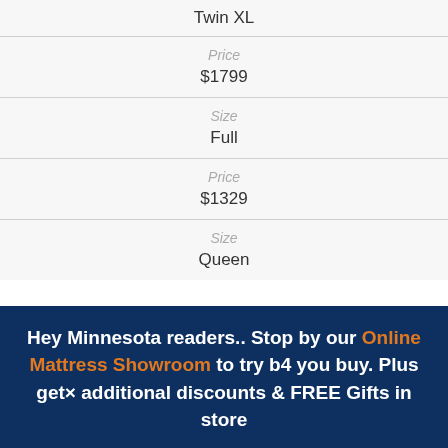| Twin XL |
| Price | $1799 |
| Size | Full |
| Price | $1329 |
| Size | Queen |
Hey Minnesota readers.. Stop by our Online Mattress Showroom to try b4 you buy. Plus get× additional discounts & FREE Gifts in store